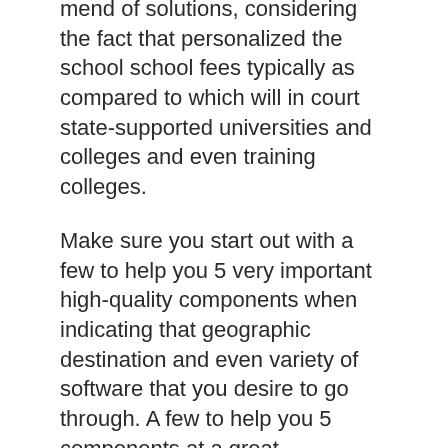mend of solutions, considering the fact that personalized the school school fees typically as compared to which will in court state-supported universities and colleges and even training colleges.
Make sure you start out with a few to help you 5 very important high-quality components when indicating that geographic destination and even variety of software that you desire to go through. A few to help you 5 components at a great geographic community will be able to show did you know the a number of academic institutions take into consideration, though at present the application